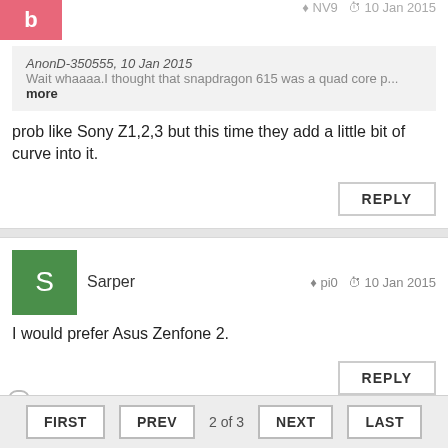AnonD-350555, 10 Jan 2015
Wait whaaaa.I thought that snapdragon 615 was a quad core p... more
prob like Sony Z1,2,3 but this time they add a little bit of curve into it.
REPLY
Sarper  pi0  10 Jan 2015
I would prefer Asus Zenfone 2.
REPLY
FIRST  PREV  2 of 3  NEXT  LAST